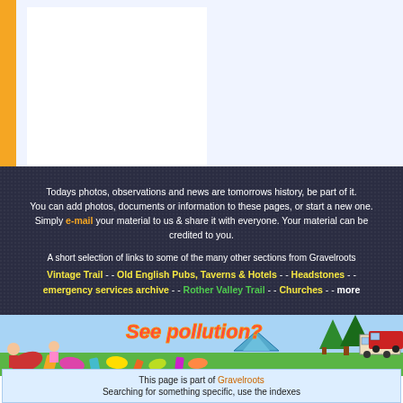[Figure (illustration): Top section with orange vertical bar on left, white panel/box in center-left area on light blue background]
Todays photos, observations and news are tomorrows history, be part of it. You can add photos, documents or information to these pages, or start a new one. Simply e-mail your material to us & share it with everyone. Your material can be credited to you.
A short selection of links to some of the many other sections from Gravelroots Vintage Trail - - Old English Pubs, Taverns & Hotels - - Headstones - - emergency services archive - - Rother Valley Trail - - Churches - - more
[Figure (illustration): Colorful cartoon illustration showing pollution scene with 'See pollution?' text, cartoon characters, litter, trees, tent, caravan on light blue background]
This page is part of Gravelroots Searching for something specific, use the indexes